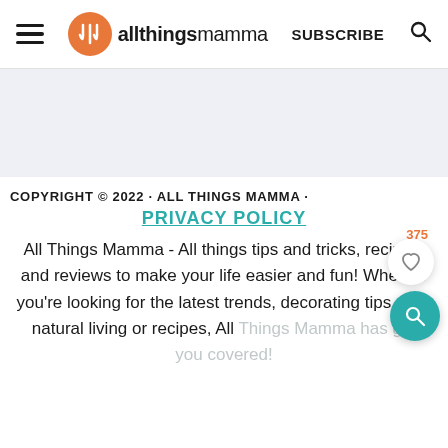allthingsmamma — SUBSCRIBE
[Figure (other): Light blue banner/advertisement area]
COPYRIGHT © 2022 · ALL THINGS MAMMA ·
PRIVACY POLICY
All Things Mamma - All things tips and tricks, recipes, and reviews to make your life easier and fun! Whether you're looking for the latest trends, decorating tips, DIY, natural living or recipes, All Things Mamma has got you covered!